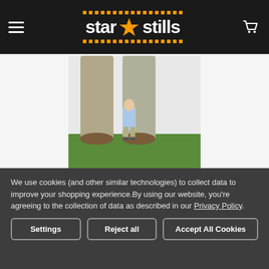star stills
[Figure (photo): Cardboard cutout standup of Sir David Attenborough, showing a small figure of the naturalist in front of large legs/pants, standing on grass]
DAVID ATTENBOROUGH
Sir David Attenborough Celebrity Cardboard Cutout / Standup / Standee
We use cookies (and other similar technologies) to collect data to improve your shopping experience.By using our website, you're agreeing to the collection of data as described in our Privacy Policy.
Settings | Reject all | Accept All Cookies